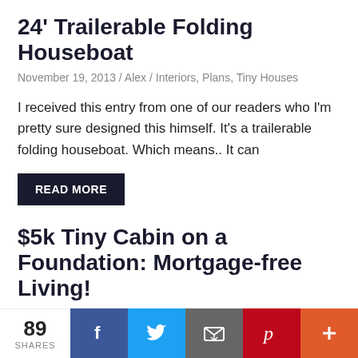24' Trailerable Folding Houseboat
November 19, 2013 / Alex / Interiors, Plans, Tiny Houses
I received this entry from one of our readers who I'm pretty sure designed this himself. It's a trailerable folding houseboat. Which means.. It can
READ MORE
$5k Tiny Cabin on a Foundation: Mortgage-free Living!
November 13, 2013 / Alex / Interiors, Plans, Small Houses, Tiny Houses
Many times we get discouraged with the pricing found for tiny houses. In most cases they end up in the
89 SHARES